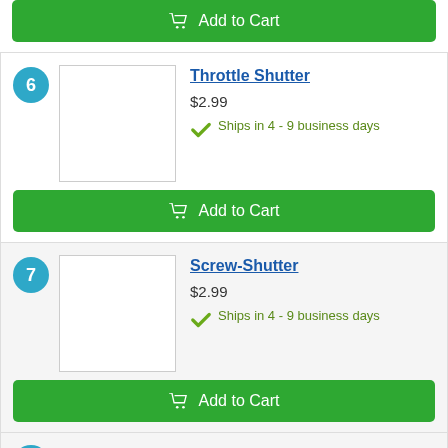Add to Cart
6
[Figure (other): Product image placeholder for Throttle Shutter]
Throttle Shutter
$2.99
Ships in 4 - 9 business days
Add to Cart
7
[Figure (other): Product image placeholder for Screw-Shutter]
Screw-Shutter
$2.99
Ships in 4 - 9 business days
Add to Cart